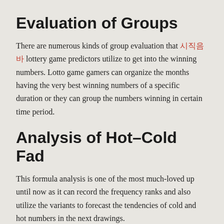Evaluation of Groups
There are numerous kinds of group evaluation that 한국 lottery game predictors utilize to get into the winning numbers. Lotto game gamers can organize the months having the very best winning numbers of a specific duration or they can group the numbers winning in certain time period.
Analysis of Hot–Cold Fad
This formula analysis is one of the most much-loved up until now as it can record the frequency ranks and also utilize the variants to forecast the tendencies of cold and hot numbers in the next drawings.
Analysis of Rep Pattern